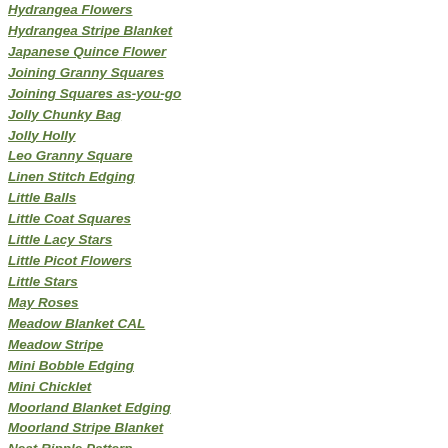Hydrangea Flowers
Hydrangea Stripe Blanket
Japanese Quince Flower
Joining Granny Squares
Joining Squares as-you-go
Jolly Chunky Bag
Jolly Holly
Leo Granny Square
Linen Stitch Edging
Little Balls
Little Coat Squares
Little Lacy Stars
Little Picot Flowers
Little Stars
May Roses
Meadow Blanket CAL
Meadow Stripe
Mini Bobble Edging
Mini Chicklet
Moorland Blanket Edging
Moorland Stripe Blanket
Neat Ripple Pattern
Neat Wave Pattern
Polyanthus Flower
Positivity Mandala Hoop
Pretty Crochet Trim
[Figure (photo): A hand holding a blue and white polka-dot bowl with food, near a fireplace with flames visible in the background.]
I made myself a milky coffee and settled d... up the warmth. Nothing beats the comfort... helps me cope with this long stretch of lo...
I sat there looking at the flames and thou... grafting the toes on J's socks or tackling t... mood. I am finding it ridiculously hard to c... big floofy thing with holes in it, incapable ... requires me to pay attention for longer th...